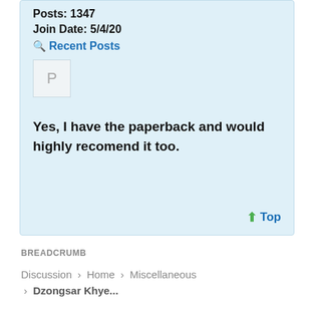Posts: 1347
Join Date: 5/4/20
Recent Posts
[Figure (other): Avatar placeholder box with letter P]
Yes, I have the paperback and would highly recomend it too.
Top
BREADCRUMB
Discussion › Home › Miscellaneous › Dzongsar Khye...